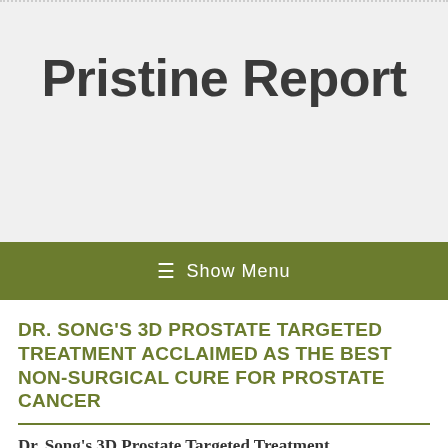Pristine Report
≡  Show Menu
DR. SONG'S 3D PROSTATE TARGETED TREATMENT ACCLAIMED AS THE BEST NON-SURGICAL CURE FOR PROSTATE CANCER
Dr. Song's 3D Prostate Targeted Treatment